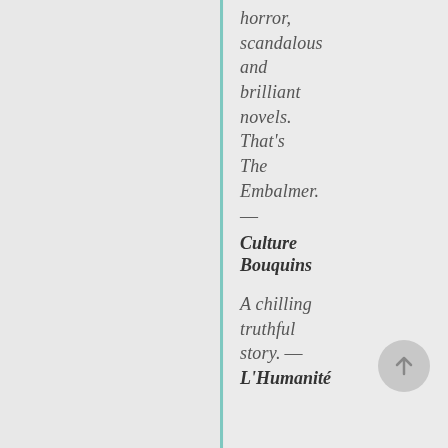horror, scandalous and brilliant novels. That's The Embalmer. — Culture Bouquins
A chilling truthful story. — L'Humanité